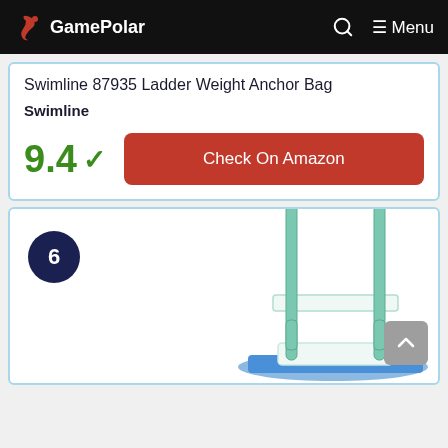GamePolar
Swimline 87935 Ladder Weight Anchor Bag
Swimline
9.4 ✓
Check On Amazon
[Figure (photo): A pool ladder with white base and blue mat, featuring green/teal metal rails and a step, photographed on a white background. Number 6 badge in dark navy circle at top left.]